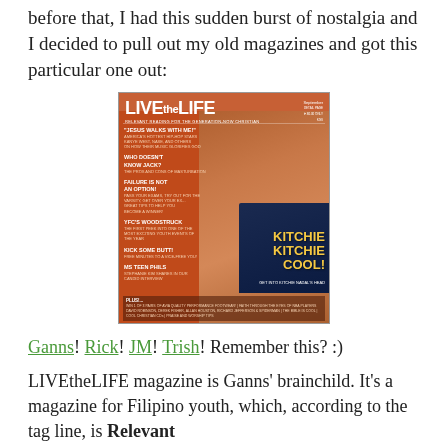before that, I had this sudden burst of nostalgia and I decided to pull out my old magazines and got this particular one out:
[Figure (photo): Magazine cover of LIVEtheLIFE featuring a young Filipino woman (Kitchie Nadal) with text headlines including 'Jesus Walks With Me!', 'Who Doesn't Know Jack?', 'Failure Is Not An Option!', 'YFC's Woodstruck', 'Kick Some Butt!', 'Ms Teen Phils', and large text reading 'KITCHIE KITCHIE COOL!']
Ganns! Rick! JM! Trish! Remember this? :)
LIVEtheLIFE magazine is Ganns' brainchild. It's a magazine for Filipino youth, which, according to the tag line, is Relevant